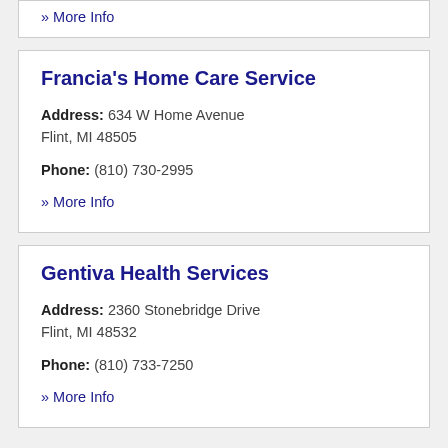» More Info
Francia's Home Care Service
Address: 634 W Home Avenue Flint, MI 48505
Phone: (810) 730-2995
» More Info
Gentiva Health Services
Address: 2360 Stonebridge Drive Flint, MI 48532
Phone: (810) 733-7250
» More Info